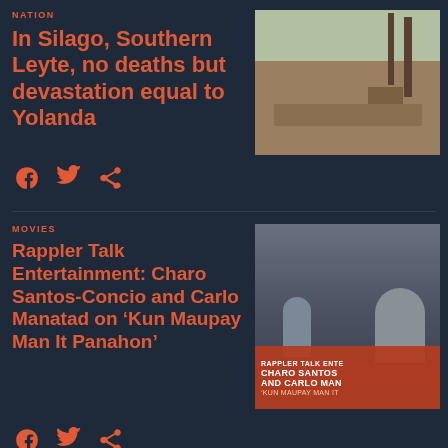NATION
In Silago, Southern Leyte, no deaths but devastation equal to Yolanda
[Figure (photo): Disaster aftermath photo showing debris, damaged structures, and fallen trees in Silago, Southern Leyte]
[Figure (other): Social media share icons: Facebook, Twitter, Share]
MOVIES
Rappler Talk Entertainment: Charo Santos-Concio and Carlo Manatad on ‘Kun Maupay Man It Panahon’
[Figure (photo): Movie promotional image with Charo Santos-Concio and Carlo Manatad, with overlay text: RAPPLER TALK ENTE, CHARO SANTOS AND CARLO MAN, KUN MAUPAY MAN IT]
[Figure (other): Social media share icons: Facebook, Twitter, Share]